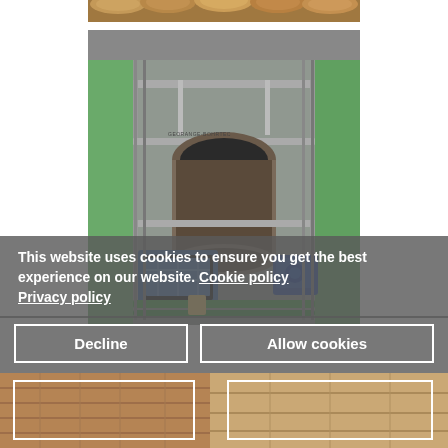[Figure (photo): Partial view of circular steel pipes from above, showing a cylindrical bundle of pipes in warm brown/orange tones at the very top of the page.]
[Figure (photo): Overhead/top-down view into a deep construction shaft or pit with green-painted concrete walls. A large steel pipe runs lengthwise through the center, supported by metal scaffolding frames. Blue and green hydraulic/pipe equipment machinery is visible at the bottom of the shaft. Metal guide rails run along the sides. Workers' safety equipment visible.]
This website uses cookies to ensure you get the best experience on our website. Cookie policy Privacy policy
[Figure (photo): Partial bottom strip image showing construction site details — wooden planks and brown/tan construction materials.]
Decline
Allow cookies